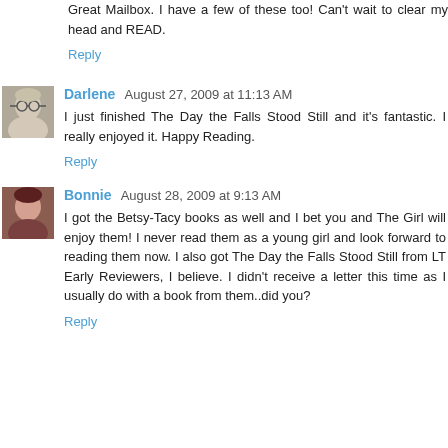Great Mailbox. I have a few of these too! Can't wait to clear my head and READ.
Reply
Darlene  August 27, 2009 at 11:13 AM
I just finished The Day the Falls Stood Still and it's fantastic. I really enjoyed it. Happy Reading.
Reply
Bonnie  August 28, 2009 at 9:13 AM
I got the Betsy-Tacy books as well and I bet you and The Girl will enjoy them! I never read them as a young girl and look forward to reading them now. I also got The Day the Falls Stood Still from LT Early Reviewers, I believe. I didn't receive a letter this time as I usually do with a book from them..did you?
Reply